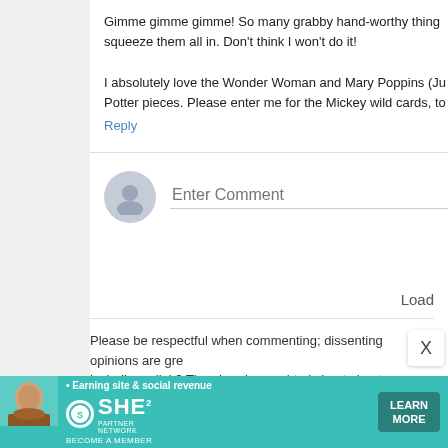Gimme gimme gimme! So many grabby hand-worthy thing squeeze them all in. Don't think I won't do it!
I absolutely love the Wonder Woman and Mary Poppins (Ju Potter pieces. Please enter me for the Mickey wild cards, to
Reply
Enter Comment
Load
Please be respectful when commenting; dissenting opinions are gre including a link? Then here's your html cheat sheet: <a href="LINK A
Newer Post
H
Subscribe to: Post Comments (Atom)
[Figure (infographic): SHE Partner Network advertisement banner with a woman's photo, 'Earning site & social revenue' text, SHE logo, and LEARN MORE button]